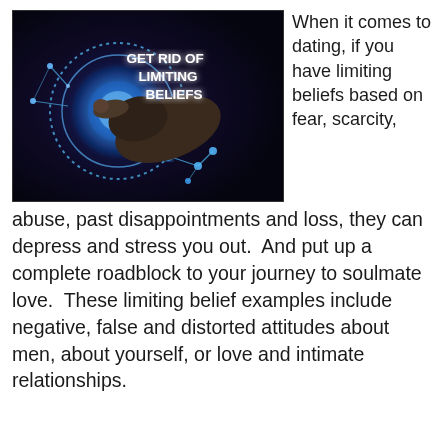[Figure (photo): Dark background image of a hand pointing at a glowing blue circular holographic interface with dotted ring, network connection nodes, and white bold text reading 'GET RID OF LIMITING BELIEFS']
When it comes to dating, if you have limiting beliefs based on fear, scarcity,
abuse, past disappointments and loss, they can depress and stress you out.  And put up a complete roadblock to your journey to soulmate love.  These limiting belief examples include negative, false and distorted attitudes about men, about yourself, or love and intimate relationships.